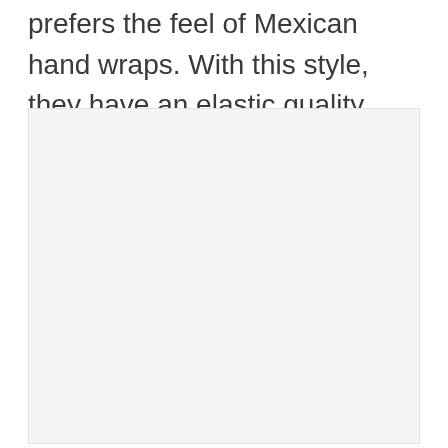prefers the feel of Mexican hand wraps. With this style, they have an elastic quality which many people find more comfortable.
[Figure (photo): A large light gray rectangular image placeholder area occupying the lower portion of the page.]